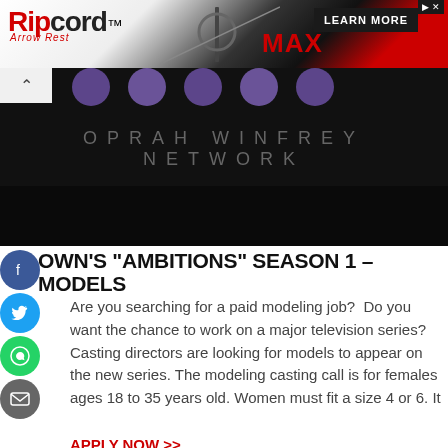[Figure (photo): Ripcord Arrow Rest MAX advertisement banner]
[Figure (photo): Oprah Winfrey Network dark background image with OWN circular logos and text OPRAH WINFREY NETWORK]
OWN'S “AMBITIONS” SEASON 1 – MODELS
Are you searching for a paid modeling job? Do you want the chance to work on a major television series? Casting directors are looking for models to appear on the new series. The modeling casting call is for females ages 18 to 35 years old. Women must fit a size 4 or 6. It
APPLY NOW >>